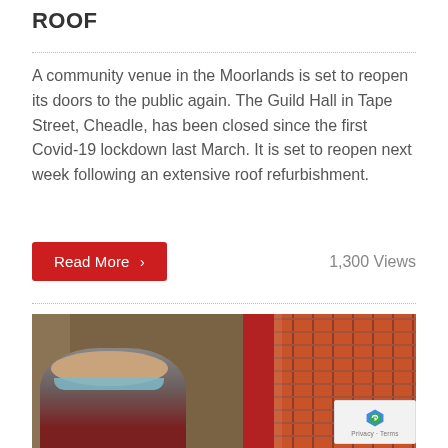ROOF
A community venue in the Moorlands is set to reopen its doors to the public again. The Guild Hall in Tape Street, Cheadle, has been closed since the first Covid-19 lockdown last March. It is set to reopen next week following an extensive roof refurbishment.
Read More >   1,300 Views
[Figure (photo): Photo showing an elderly woman wearing a blue face mask near a red door, with brick wall visible on the right side. A reCAPTCHA privacy badge is visible in the bottom-right corner.]